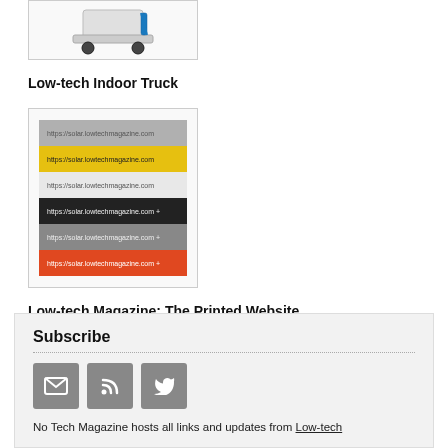[Figure (photo): Low-tech Indoor Truck product image with wheels visible at top]
Low-tech Indoor Truck
[Figure (photo): Stack of printed books/magazines with URL https://solar.lowtechmagazine.com printed on spines in yellow, white, dark grey, and orange colors]
Low-tech Magazine: The Printed Website
Subscribe
No Tech Magazine hosts all links and updates from Low-tech